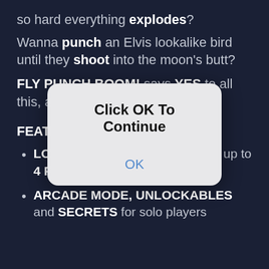so hard everything explodes?
Wanna punch an Elvis lookalike bird until they shoot into the moon's butt?
FLY PUNCH BOOM! says YES to all this, and more. Way more.
[Figure (screenshot): A modal dialog box with rounded corners on a dark background. The dialog displays the text 'Click OK To Continue' in bold black, and an 'OK' button in blue below.]
FEATURES:
LOCAL and ONLINE Multiplayer, up to 4 PLAYERS local & 2 online
ARCADE MODE, UNLOCKABLES and SECRETS for solo players